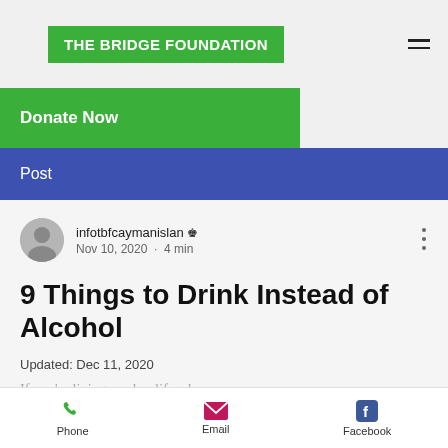THE BRIDGE FOUNDATION
Donate Now
Post
infotbfcaymanislan 👑
Nov 10, 2020 · 4 min
9 Things to Drink Instead of Alcohol
Updated: Dec 11, 2020
If you're living a sober life, chances are,
Phone  Email  Facebook